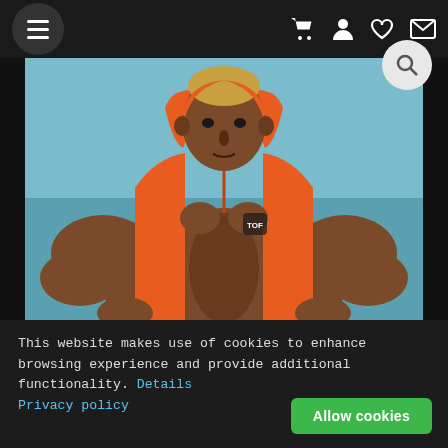[Figure (screenshot): Website navigation bar with hamburger menu on left and cart, user, heart, mail icons on right, plus a search circle]
[Figure (photo): Muscular man wearing an orange sleeveless hoodie with hood up, hands on hips, against a teal/blue background. Brand logo visible on chest.]
This website makes use of cookies to enhance browsing experience and provide additional functionality. Details Privacy policy
Allow cookies